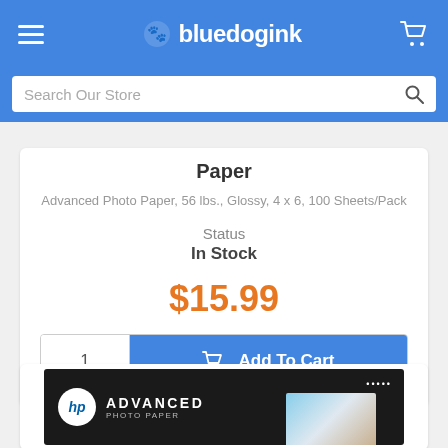bluedogink
Search Our Store
Paper
Advanced Photo Paper, 56 lbs., Glossy, 4 x 6, 100 Sheets/Pack
Status
In Stock
$15.99
1  Add To Cart
[Figure (photo): HP Advanced Photo Paper product image on dark background]